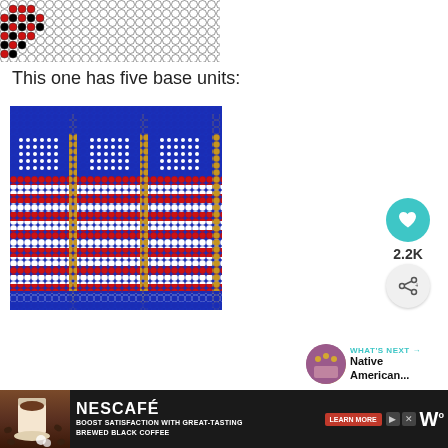[Figure (illustration): Top portion of a bead pattern with red and black circles on white grid, showing partial bead weaving design]
This one has five base units:
[Figure (illustration): Bead weaving pattern showing American flags repeated 3 times side by side in blue, red/white stripes, and gold dividers on a blue background]
[Figure (other): Heart/like button (teal circle with white heart icon), count 2.2K, share button]
2.2K
[Figure (other): What's Next link with thumbnail showing Native American beadwork]
WHAT'S NEXT →
Native American...
[Figure (other): Nescafé advertisement banner: BOOST SATISFACTION WITH GREAT-TASTING BREWED BLACK COFFEE]